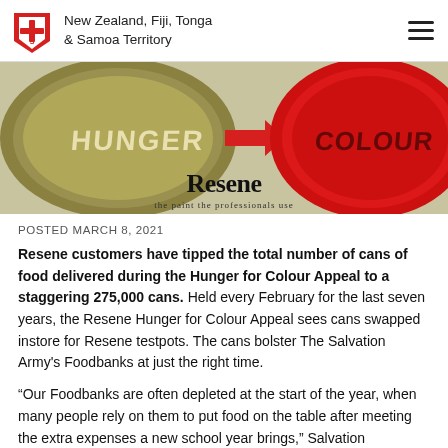New Zealand, Fiji, Tonga & Samoa Territory
[Figure (photo): Hero banner image showing tin cans with 'HUNGER FOR COLOUR' text and a red Resene paint lid, with the Resene logo and tagline 'the paint the professionals use']
POSTED MARCH 8, 2021
Resene customers have tipped the total number of cans of food delivered during the Hunger for Colour Appeal to a staggering 275,000 cans. Held every February for the last seven years, the Resene Hunger for Colour Appeal sees cans swapped instore for Resene testpots. The cans bolster The Salvation Army's Foodbanks at just the right time.
“Our Foodbanks are often depleted at the start of the year, when many people rely on them to put food on the table after meeting the extra expenses a new school year brings,” Salvation